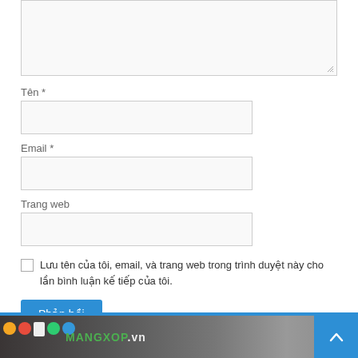[Figure (screenshot): Textarea input box (partially visible, top of page)]
Tên *
[Figure (screenshot): Text input field for Tên (name)]
Email *
[Figure (screenshot): Text input field for Email]
Trang web
[Figure (screenshot): Text input field for Trang web (website)]
Lưu tên của tôi, email, và trang web trong trình duyệt này cho lần bình luận kế tiếp của tôi.
Phản hồi
[Figure (photo): Website footer banner with MANGXOP.vn logo and colorful product images, with back-to-top button]